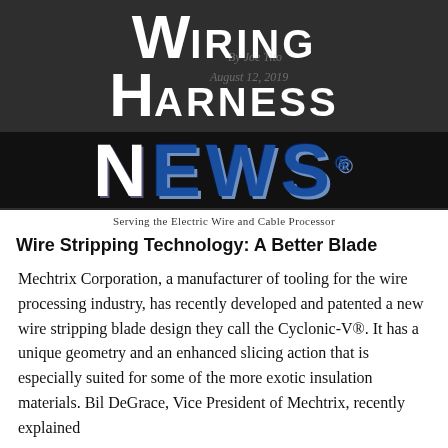[Figure (logo): Wiring Harness News logo with large white bold text on dark background, blue NEWS text. Byline overlay: 'By Joe Tito', date overlay: 'August 12, 2019'. Subtitle: 'Serving the Electric Wire and Cable Processor']
Wire Stripping Technology: A Better Blade
Mechtrix Corporation, a manufacturer of tooling for the wire processing industry, has recently developed and patented a new wire stripping blade design they call the Cyclonic-V®. It has a unique geometry and an enhanced slicing action that is especially suited for some of the more exotic insulation materials. Bil DeGrace, Vice President of Mechtrix, recently explained